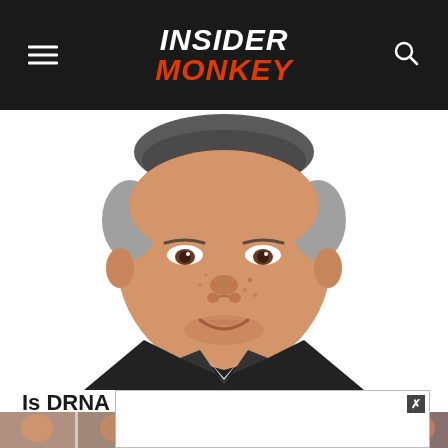INSIDER MONKEY
[Figure (illustration): Caricature illustration of a middle-aged man in a dark suit with a large stylized head, gray-streaked hair, smiling slightly. The style is a digital caricature used for financial/hedge fund personality coverage.]
Is DRNA A Good Stock To Buy Now According To Hedge Funds?
[Figure (photo): Bottom strip of partial thumbnail photos of people, partially visible at the bottom edge of the page. An ad overlay box with a close (x) button is visible on top of the article title area.]